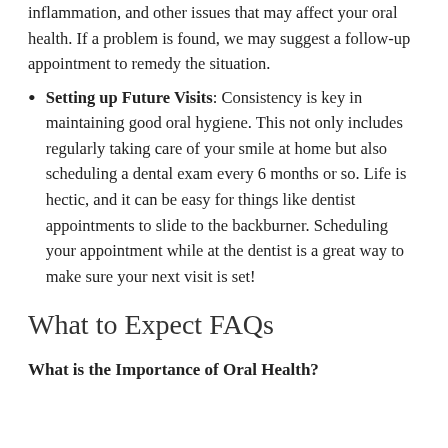inflammation, and other issues that may affect your oral health. If a problem is found, we may suggest a follow-up appointment to remedy the situation.
Setting up Future Visits: Consistency is key in maintaining good oral hygiene. This not only includes regularly taking care of your smile at home but also scheduling a dental exam every 6 months or so. Life is hectic, and it can be easy for things like dentist appointments to slide to the backburner. Scheduling your appointment while at the dentist is a great way to make sure your next visit is set!
What to Expect FAQs
What is the Importance of Oral Health?